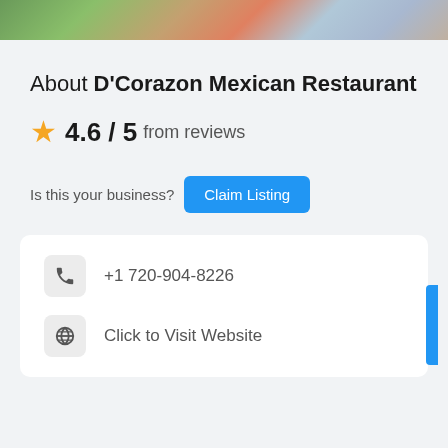[Figure (photo): Top banner image showing outdoor scene with greenery and colorful elements]
About D'Corazon Mexican Restaurant
4.6 / 5 from reviews
Is this your business? Claim Listing
+1 720-904-8226
Click to Visit Website